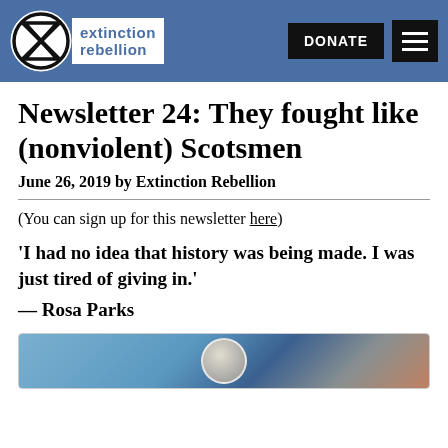[Figure (logo): Extinction Rebellion logo with hourglass-in-circle symbol and text 'extinction rebellion' on blue header bar with DONATE button and hamburger menu]
Newsletter 24: They fought like (nonviolent) Scotsmen
June 26, 2019 by Extinction Rebellion
(You can sign up for this newsletter here)
‘I had no idea that history was being made. I was just tired of giving in.’
— Rosa Parks
[Figure (photo): Partial photo of person or scene, only top portion visible at bottom of page]